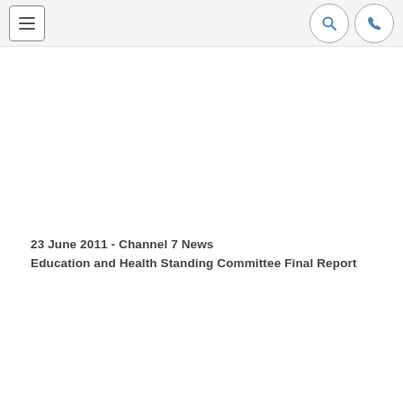Menu | Search | Phone
23 June 2011 - Channel 7 News
Education and Health Standing Committee Final Report